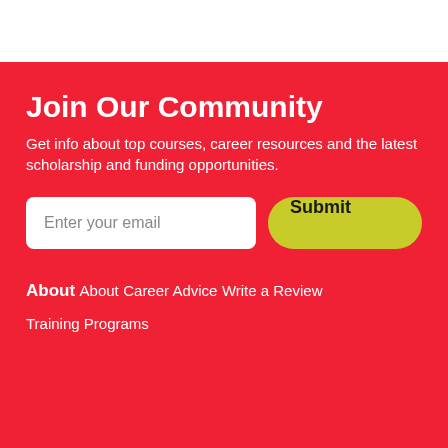Join Our Community
Get info about top courses, career resources and the latest scholarship and funding opportunities.
Enter your email
Submit
About
About
Career Advice
Write a Review
Training Programs